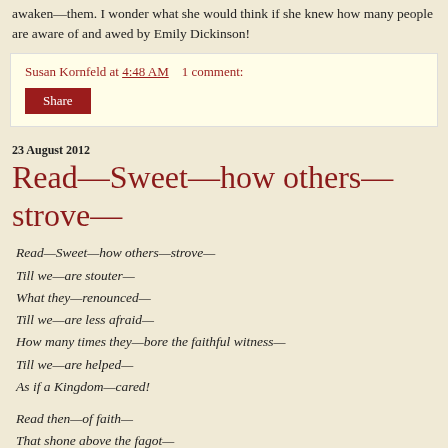awaken—them. I wonder what she would think if she knew how many people are aware of and awed by Emily Dickinson!
Susan Kornfeld at 4:48 AM   1 comment:
Share
23 August 2012
Read—Sweet—how others—strove—
Read—Sweet—how others—strove—
Till we—are stouter—
What they—renounced—
Till we—are less afraid—
How many times they—bore the faithful witness—
Till we—are helped—
As if a Kingdom—cared!

Read then—of faith—
That shone above the fagot—